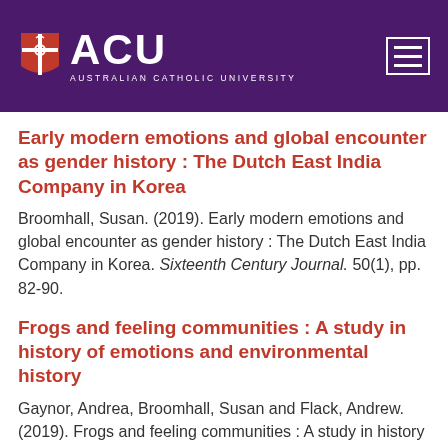ACU — Australian Catholic University
Early modern emotions and global encounter as gender history : The Dutch East India Company in Korea
Broomhall, Susan. (2019). Early modern emotions and global encounter as gender history : The Dutch East India Company in Korea. Sixteenth Century Journal. 50(1), pp. 82-90.
Frogs and feeling communities : A study in history of emotions and environmental history
Gaynor, Andrea, Broomhall, Susan and Flack, Andrew. (2019). Frogs and feeling communities : A study in history of emotions and environmental